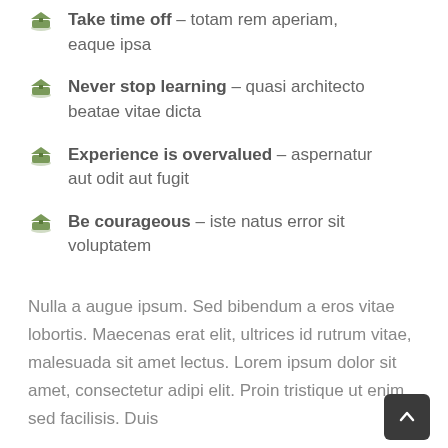Take time off – totam rem aperiam, eaque ipsa
Never stop learning – quasi architecto beatae vitae dicta
Experience is overvalued – aspernatur aut odit aut fugit
Be courageous – iste natus error sit voluptatem
Nulla a augue ipsum. Sed bibendum a eros vitae lobortis. Maecenas erat elit, ultrices id rutrum vitae, malesuada sit amet lectus. Lorem ipsum dolor sit amet, consectetur adipi elit. Proin tristique ut enim sed facilisis. Duis